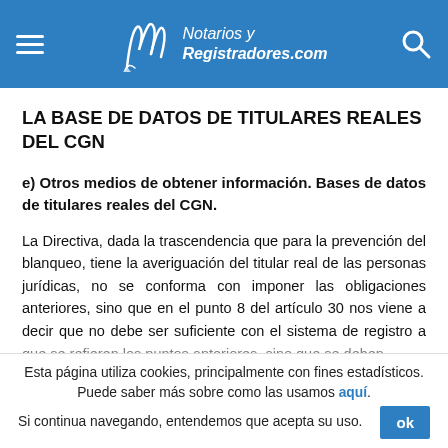Notarios y Registradores.com
LA BASE DE DATOS DE TITULARES REALES DEL CGN
e) Otros medios de obtener información. Bases de datos de titulares reales del CGN.
La Directiva, dada la trascendencia que para la prevención del blanqueo, tiene la averiguación del titular real de las personas jurídicas, no se conforma con imponer las obligaciones anteriores, sino que en el punto 8 del artículo 30 nos viene a decir que no debe ser suficiente con el sistema de registro a que se refieren los puntos anteriores, sino que se deben
Esta página utiliza cookies, principalmente con fines estadísticos. Puede saber más sobre como las usamos aquí. Si continua navegando, entendemos que acepta su uso.